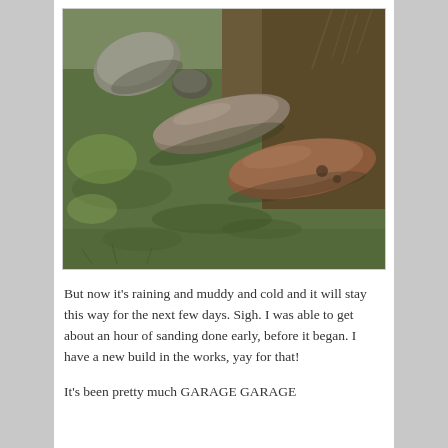[Figure (photo): Outdoor photo showing large elongated rocks arranged along a garden bed edge, with green-brown grass lawn in the foreground and dark soil/mud and dry brush in the background.]
But now it's raining and muddy and cold and it will stay this way for the next few days. Sigh. I was able to get about an hour of sanding done early, before it began. I have a new build in the works, yay for that!
It's been pretty much GARAGE GARAGE